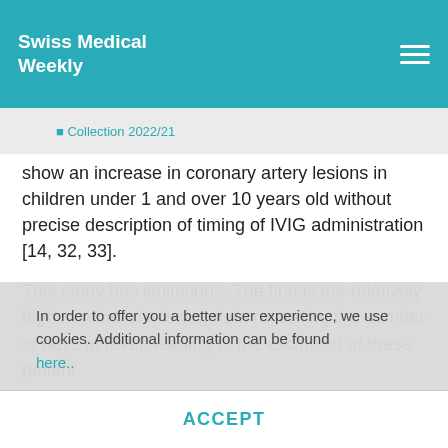Swiss Medical Weekly
◼ Collection 2022/21
show an increase in coronary artery lesions in children under 1 and over 10 years old without precise description of timing of IVIG administration [14, 32, 33].
This study has limitations. The first is the relatively high number of missing data regarding the number of days of fever, leading to the exclusion of these patien…
In order to offer you a better user experience, we use cookies. Additional information can be found here..
ACCEPT